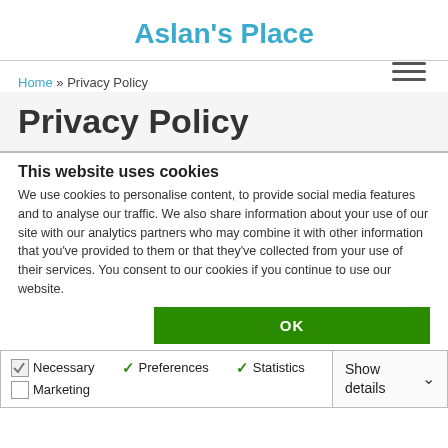Aslan's Place
Privacy Policy
Home » Privacy Policy
This website uses cookies
We use cookies to personalise content, to provide social media features and to analyse our traffic. We also share information about your use of our site with our analytics partners who may combine it with other information that you've provided to them or that they've collected from your use of their services. You consent to our cookies if you continue to use our website.
OK
Necessary   Preferences   Statistics   Marketing   Show details